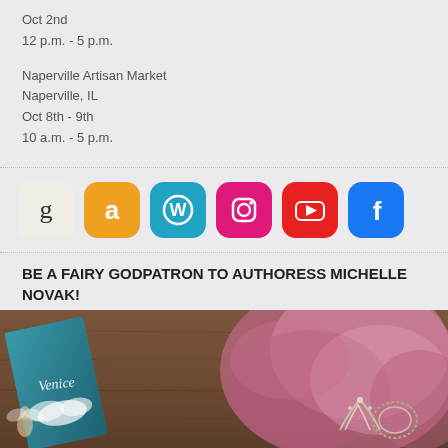Oct 2nd
12 p.m. - 5 p.m.
Naperville Artisan Market
Naperville, IL
Oct 8th - 9th
10 a.m. - 5 p.m.
[Figure (infographic): Social media icons row: Goodreads (g), Amazon (a), WordPress (W), Instagram, YouTube, Facebook]
BE A FAIRY GODPATRON TO AUTHORESS MICHELLE NOVAK!
[Figure (photo): Photo of a teal book titled Venice with pink feathers/fur and a tiara, on a wooden table]